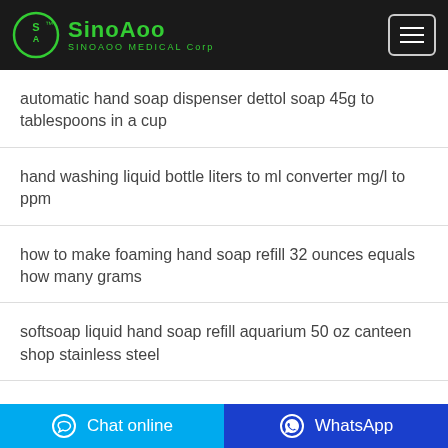[Figure (logo): SinoAoo Medical Corp logo with green circular emblem and text on black header bar]
automatic hand soap dispenser dettol soap 45g to tablespoons in a cup
hand washing liquid bottle liters to ml converter mg/l to ppm
how to make foaming hand soap refill 32 ounces equals how many grams
softsoap liquid hand soap refill aquarium 50 oz canteen shop stainless steel
Chat online   WhatsApp